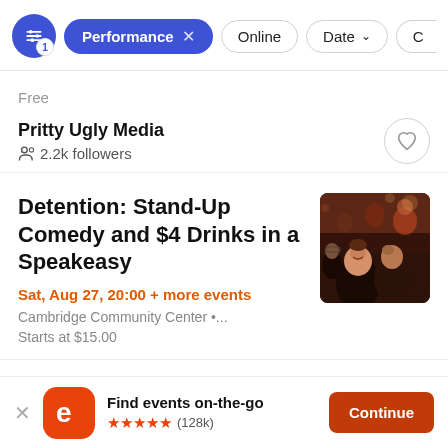Performance × | Online | Date ↓ | C
Free
Pritty Ugly Media
2.2k followers
Detention: Stand-Up Comedy and $4 Drinks in a Speakeasy
Sat, Aug 27, 20:00 + more events
Cambridge Community Center •...
Starts at $15.00
[Figure (photo): Crowd at a comedy event in a dimly lit speakeasy venue]
Find events on-the-go ★★★★★ (128k)